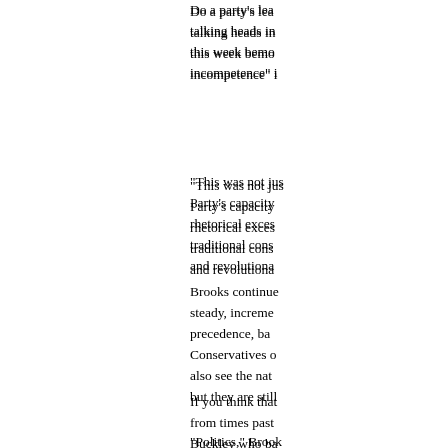Do a party's lea talking heads in this week bemo incompetence" i
"This was not jus Party's capacity rhetorical exces traditional cons and revolutiona
Brooks continue steady, increme precedence, ba Conservatives o also see the nat but they are still
If you think that from times past Buckley who ba embracing and p
"Politics," Brook conversation, ca